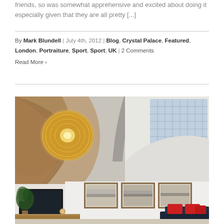friends, so was somewhat apprehensive and excited about doing it especially given that they are all pretty [...]
By Mark Blundell | July 4th, 2012 | Blog, Crystal Palace, Featured, London, Portraiture, Sport, Sport, UK | 2 Comments
Read More ›
[Figure (photo): Interior architectural photo showing a curved ceiling with an ornate spherical pendant light fixture on the left side and a grid skylight on the right. Below are three framed black and white photographs on a white wall, a dark TV on the left, a plant, and a dark sofa with red cushions in the lower right.]